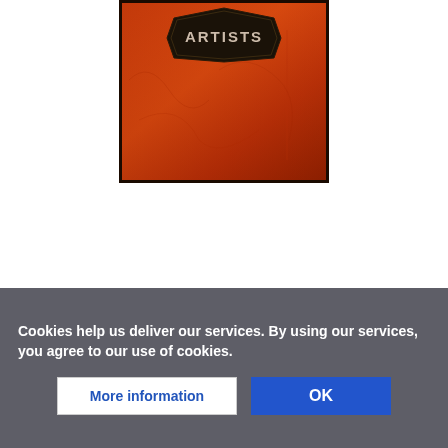[Figure (photo): Partial view of a book cover with red/orange background and the word ARTISTS visible in a dark badge/shield shape at the top. The cover has a textured dark red and orange gradient design.]
Cookies help us deliver our services. By using our services, you agree to our use of cookies.